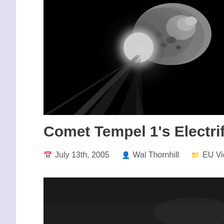[Figure (photo): Black and white photograph of Comet Tempel 1 showing the comet nucleus (rocky, cratered body) in the upper right with a bright flash/explosion of light emanating from its surface, against a black space background. Rays of light extend downward and to the left.]
Comet Tempel 1's Electrifying...
July 13th, 2005   Wal Thornhill   EU Views
[Figure (photo): Black and white image, partially visible, appears to be a dark scene possibly related to the comet or space, with a scroll-to-top button in the lower right corner.]